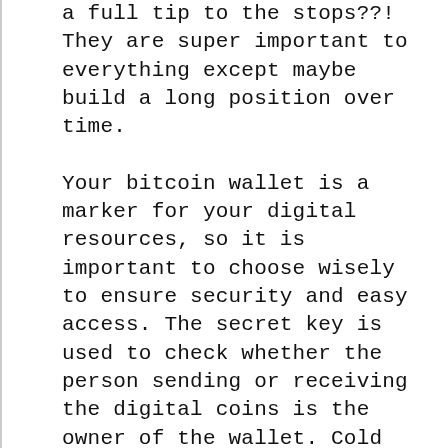a full tip to the stops??! They are super important to everything except maybe build a long position over time.
Your bitcoin wallet is a marker for your digital resources, so it is important to choose wisely to ensure security and easy access. The secret key is used to check whether the person sending or receiving the digital coins is the owner of the wallet. Cold storage is the safest technique to store your private key. Printing your password and removing all digital tracks is what cold storage means. The